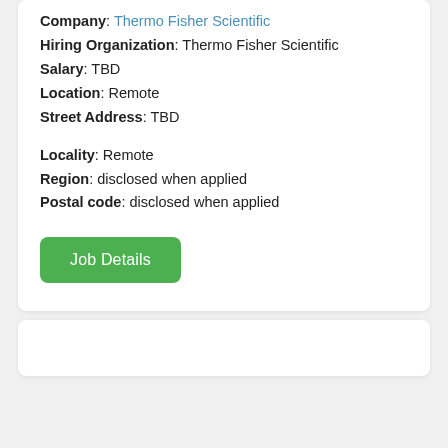Company: Thermo Fisher Scientific
Hiring Organization: Thermo Fisher Scientific
Salary: TBD
Location: Remote
Street Address: TBD
Locality: Remote
Region: disclosed when applied
Postal code: disclosed when applied
Job Details